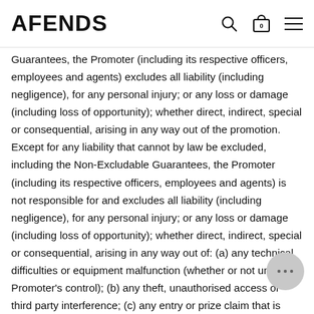AFENDS
Guarantees, the Promoter (including its respective officers, employees and agents) excludes all liability (including negligence), for any personal injury; or any loss or damage (including loss of opportunity); whether direct, indirect, special or consequential, arising in any way out of the promotion. Except for any liability that cannot by law be excluded, including the Non-Excludable Guarantees, the Promoter (including its respective officers, employees and agents) is not responsible for and excludes all liability (including negligence), for any personal injury; or any loss or damage (including loss of opportunity); whether direct, indirect, special or consequential, arising in any way out of: (a) any technical difficulties or equipment malfunction (whether or not under the Promoter's control); (b) any theft, unauthorised access or third party interference; (c) any entry or prize claim that is lost, altered, damaged or misdirected (whether or not after the receipt by the Promoter) due to any reason beyond the reasonable control